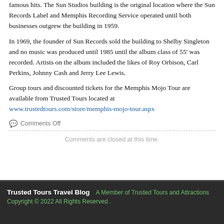famous hits. The Sun Studios building is the original location where the Sun Records Label and Memphis Recording Service operated until both businesses outgrew the building in 1959.
In 1969, the founder of Sun Records sold the building to Shelby Singleton and no music was produced until 1985 until the album class of 55' was recorded. Artists on the album included the likes of Roy Orbison, Carl Perkins, Johnny Cash and Jerry Lee Lewis.
Group tours and discounted tickets for the Memphis Mojo Tour are available from Trusted Tours located at
www.trustedtours.com/store/memphis-mojo-tour.aspx
Comments Off
Comments are closed at this time.
Trusted Tours Travel Blog   A Member of Trusted Tours and Attractions Copyright © 2022 All Rights Reserved .